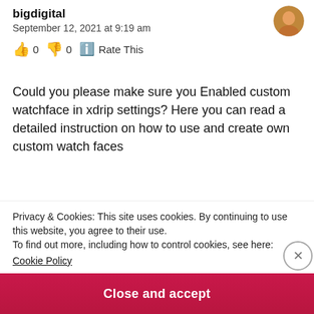bigdigital
September 12, 2021 at 9:19 am
👍 0 👎 0 ℹ Rate This
Could you please make sure you Enabled custom watchface in xdrip settings? Here you can read a detailed instruction on how to use and create own custom watch faces
Privacy & Cookies: This site uses cookies. By continuing to use this website, you agree to their use.
To find out more, including how to control cookies, see here:
Cookie Policy
Close and accept